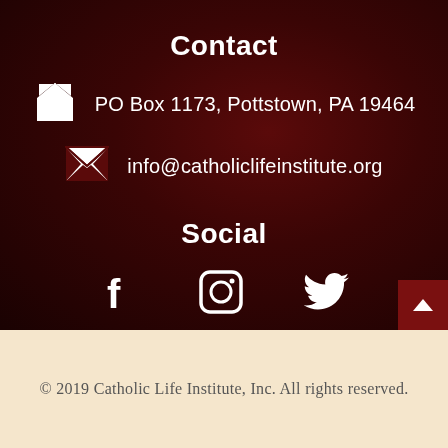Contact
PO Box 1173, Pottstown, PA 19464
info@catholiclifeinstitute.org
Social
[Figure (illustration): Social media icons: Facebook, Instagram, Twitter]
© 2019 Catholic Life Institute, Inc. All rights reserved.